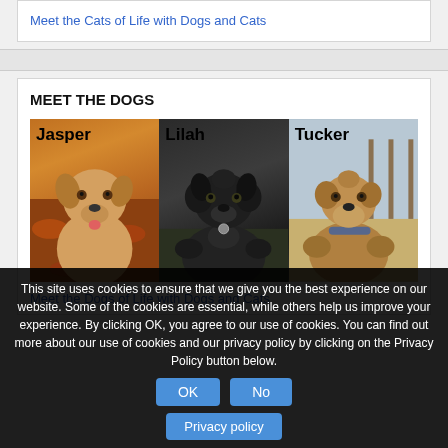Meet the Cats of Life with Dogs and Cats
MEET THE DOGS
[Figure (photo): Three dogs side by side labeled Jasper (tan dog on autumn leaves), Lilah (black fluffy dog), Tucker (terrier mix dog)]
Meet the Dogs of Life with Dogs and Cats
This site uses cookies to ensure that we give you the best experience on our website. Some of the cookies are essential, while others help us improve your experience. By clicking OK, you agree to our use of cookies. You can find out more about our use of cookies and our privacy policy by clicking on the Privacy Policy button below.